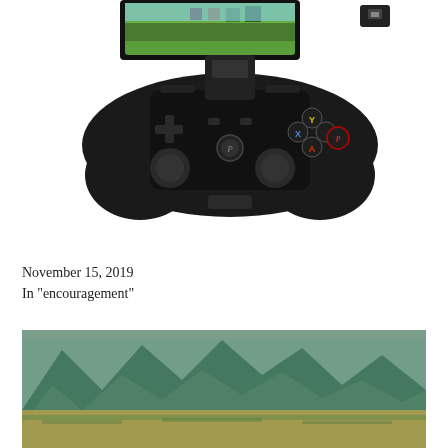[Figure (photo): A black wireless game controller with a phone holder on top showing a Minecraft game screen, and a small USB wireless dongle to the upper right.]
Hooked
November 15, 2019
In "encouragement"
[Figure (photo): A landscape scene showing rocky mountains and plains with green and golden hues, resembling a fantasy game environment.]